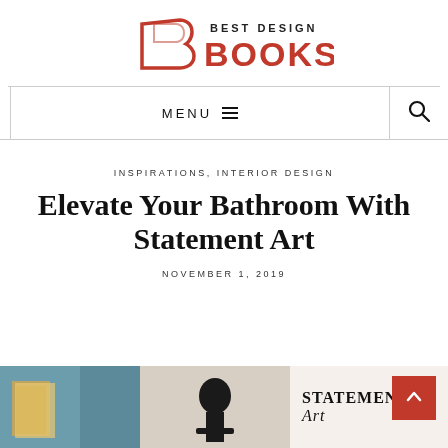[Figure (logo): Best Design Books logo with stylized B icon in orange/red outline and BOOKS text in orange, BEST DESIGN in dark gray above]
MENU  ☰
INSPIRATIONS, INTERIOR DESIGN
Elevate Your Bathroom With Statement Art
NOVEMBER 1, 2019
[Figure (photo): Bottom image strip showing three partial images: left - a dark teal/blue artistic photo, center - a black sculpture figure on beige background, right - text overlay reading STATEMENT ART in bold serif on light background]